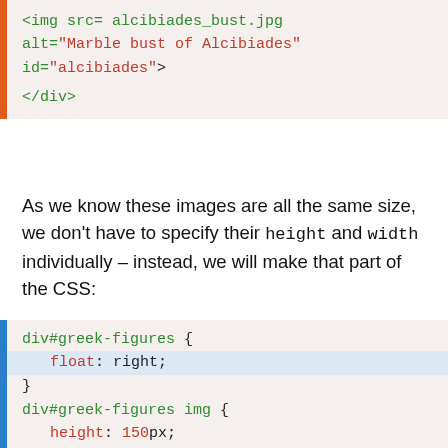<img src= alcibiades_bust.jpg alt="Marble bust of Alcibiades" id="alcibiades">
</div>
As we know these images are all the same size, we don't have to specify their height and width individually – instead, we will make that part of the CSS:
div#greek-figures {
    float: right;
}
div#greek-figures img {
    height: 150px;
    width: 150px;
    position: absolute;